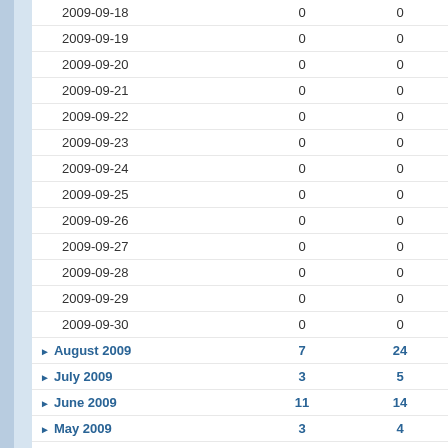| Date | Col1 | Col2 |
| --- | --- | --- |
| 2009-09-18 | 0 | 0 |
| 2009-09-19 | 0 | 0 |
| 2009-09-20 | 0 | 0 |
| 2009-09-21 | 0 | 0 |
| 2009-09-22 | 0 | 0 |
| 2009-09-23 | 0 | 0 |
| 2009-09-24 | 0 | 0 |
| 2009-09-25 | 0 | 0 |
| 2009-09-26 | 0 | 0 |
| 2009-09-27 | 0 | 0 |
| 2009-09-28 | 0 | 0 |
| 2009-09-29 | 0 | 0 |
| 2009-09-30 | 0 | 0 |
| ▶ August 2009 | 7 | 24 |
| ▶ July 2009 | 3 | 5 |
| ▶ June 2009 | 11 | 14 |
| ▶ May 2009 | 3 | 4 |
| ▶ April 2009 | 2 | 2 |
| ▶ March 2009 | 3 | 4 |